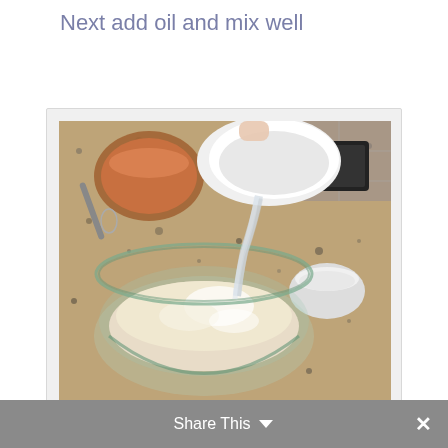Next add oil and mix well
[Figure (photo): Photo of oil being poured from a white bowl into a glass mixing bowl containing flour/dry ingredients on a granite countertop. Background shows an orange bowl, a whisk, and a small white ramekin.]
Oil Mix
Share This ∨  ✕